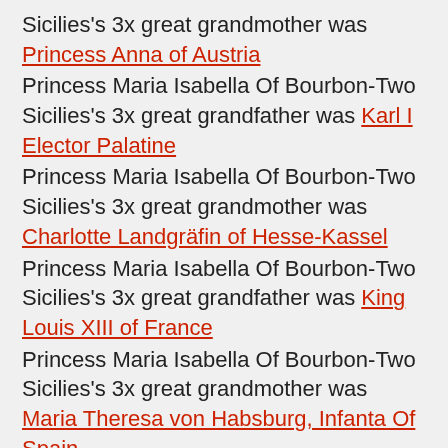Sicilies's 3x great grandmother was Princess Anna of Austria
Princess Maria Isabella Of Bourbon-Two Sicilies's 3x great grandfather was Karl I Elector Palatine
Princess Maria Isabella Of Bourbon-Two Sicilies's 3x great grandmother was Charlotte Landgräfin of Hesse-Kassel
Princess Maria Isabella Of Bourbon-Two Sicilies's 3x great grandfather was King Louis XIII of France
Princess Maria Isabella Of Bourbon-Two Sicilies's 3x great grandmother was Maria Theresa von Habsburg, Infanta Of Spain
----
Princess Maria Isabella Of Bourbon-Two